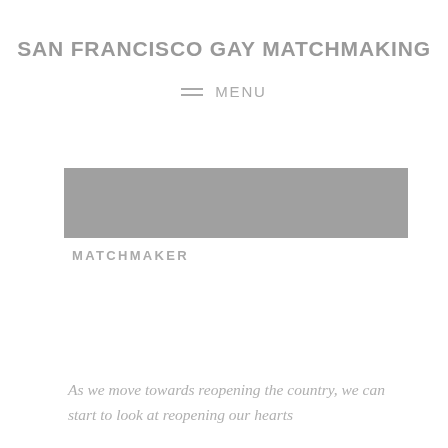SAN FRANCISCO GAY MATCHMAKING
MENU
[Figure (photo): A gray rectangular image placeholder representing a hero/banner photo]
MATCHMAKER
As we move towards reopening the country, we can start to look at reopening our hearts